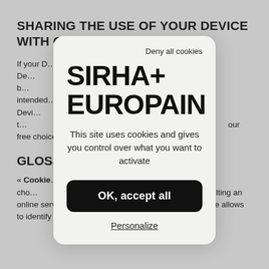SHARING THE USE OF YOUR DEVICE WITH OTHER
If your D… nd if the same De… re, we cannot b… nts intended… use of this Devi… Device. Sharing t… configuri… our free choice a…
GLOSS
« Cookie … ubject to your cho… s hard drive, when consulting an online service using your browser software. A Cookie file allows to identify the
[Figure (screenshot): Cookie consent modal dialog for SIRHA+ EUROPAIN website. Contains 'Deny all cookies' link at top right, logo 'SIRHA+ EUROPAIN' in bold black text, description text 'This site uses cookies and gives you control over what you want to activate', a black 'OK, accept all' button, and an underlined 'Personalize' link.]